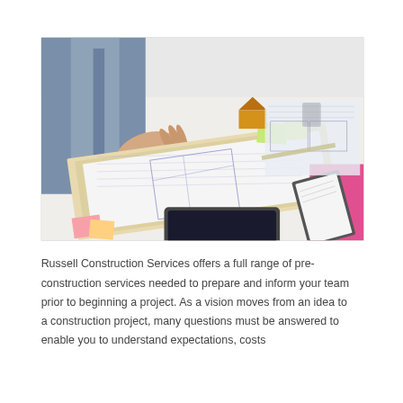[Figure (photo): Two people reviewing architectural blueprints and construction plans on a table, with sticky notes, a tablet, a model house, and drafting tools visible. One person wears a blue suit and holds a pen, the other wears a pink sweater and holds clipboard.]
Russell Construction Services offers a full range of pre-construction services needed to prepare and inform your team prior to beginning a project. As a vision moves from an idea to a construction project, many questions must be answered to enable you to understand expectations, costs